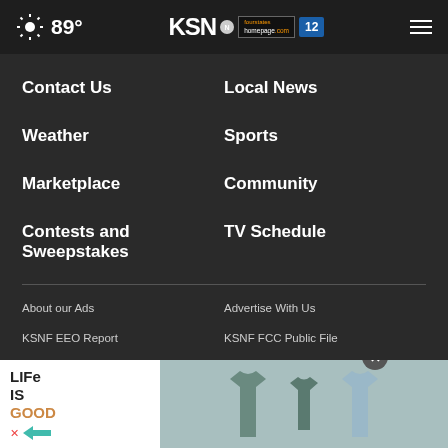89° KSN fourstates homepage.com 12
Contact Us
Local News
Weather
Sports
Marketplace
Community
Contests and Sweepstakes
TV Schedule
About our Ads
Advertise With Us
KSNF EEO Report
KSNF FCC Public File
KODE FCC Public File
Closed Captioning
[Figure (screenshot): Advertisement banner for Life Is Good t-shirts showing logo text and t-shirt product images on a teal background]